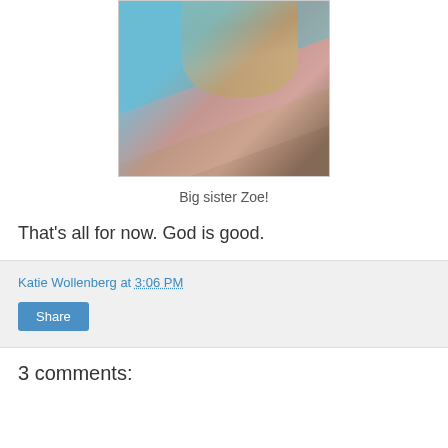[Figure (photo): Child with blonde hair wearing a pink top, being held by someone in a teal/blue top. View from behind/above.]
Big sister Zoe!
That's all for now. God is good.
Katie Wollenberg at 3:06 PM
Share
3 comments: